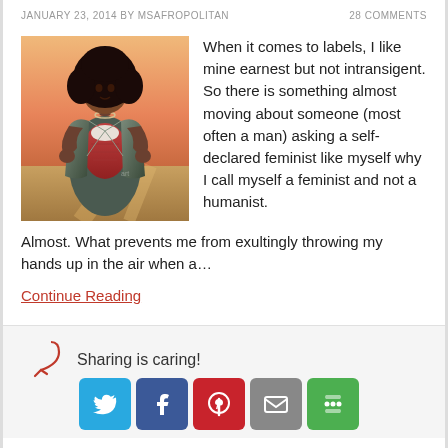JANUARY 23, 2014 BY MSAFROPOLITAN   28 COMMENTS
[Figure (illustration): Illustration of a Black woman with curly hair, wearing a jacket open to reveal a Wonder Woman-style costume underneath, in a superhero reveal pose.]
When it comes to labels, I like mine earnest but not intransigent. So there is something almost moving about someone (most often a man) asking a self-declared feminist like myself why I call myself a feminist and not a humanist. Almost. What prevents me from exultingly throwing my hands up in the air when a…
Continue Reading
Sharing is caring!